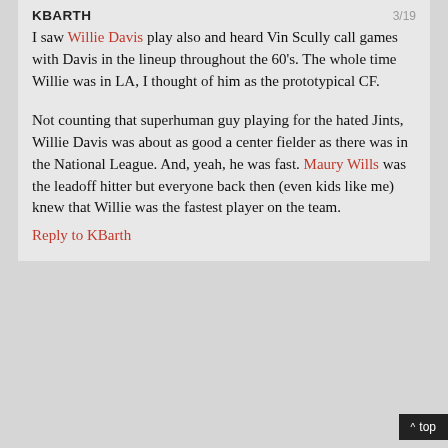KBARTH   3/19
I saw Willie Davis play also and heard Vin Scully call games with Davis in the lineup throughout the 60's. The whole time Willie was in LA, I thought of him as the prototypical CF.
Not counting that superhuman guy playing for the hated Jints, Willie Davis was about as good a center fielder as there was in the National League. And, yeah, he was fast. Maury Wills was the leadoff hitter but everyone back then (even kids like me) knew that Willie was the fastest player on the team.
Reply to KBarth
^ top